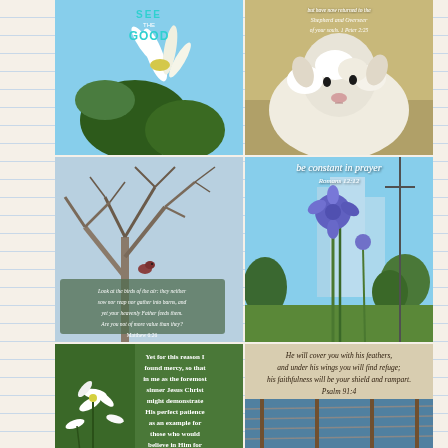[Figure (photo): White flower with green leaves against blue sky with 'SEE THE GOOD' text overlay in teal/cyan]
[Figure (photo): Close-up of a fluffy white sheep/lamb face with scripture overlay - 1 Peter 2:25]
[Figure (photo): Bird perched on bare tree branches against sky with Matthew 6:26 scripture overlay]
[Figure (photo): Blue/purple flower (cornflower) against sky with 'be constant in prayer Romans 12:12' text]
[Figure (photo): White flowers with scripture overlay about mercy and Jesus Christ demonstrating patience - 1 Timothy 1:16]
[Figure (photo): Psalm 91:4 scripture about feathers and wings over image with fence/sky]